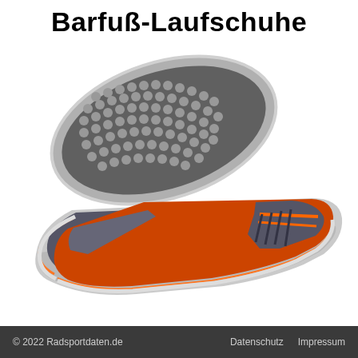Barfuß-Laufschuhe
[Figure (photo): Two barefoot running shoes (Barfuß-Laufschuhe): one showing the sole with circular rubber nubs arranged in a grid pattern on a gray outsole, and one showing the upper — an orange mesh sneaker with gray leather overlays, orange laces, and a light gray rubber sole.]
© 2022 Radsportdaten.de    Datenschutz    Impressum